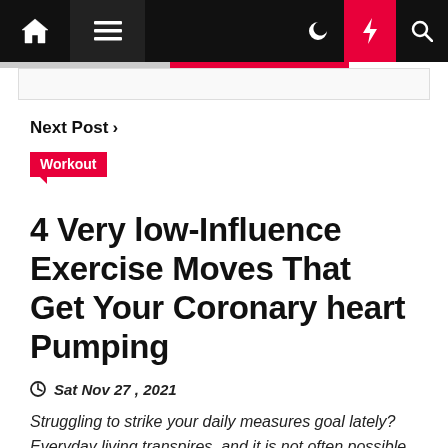Navigation bar with home, menu, moon, bolt, search icons
Next Post >
Workout
4 Very low-Influence Exercise Moves That Get Your Coronary heart Pumping
Sat Nov 27, 2021
Struggling to strike your daily measures goal lately? Everyday living transpires, and it is not often possible to wander as substantially as you want to, in particular if your strolls are shorter than they utilised to be—like